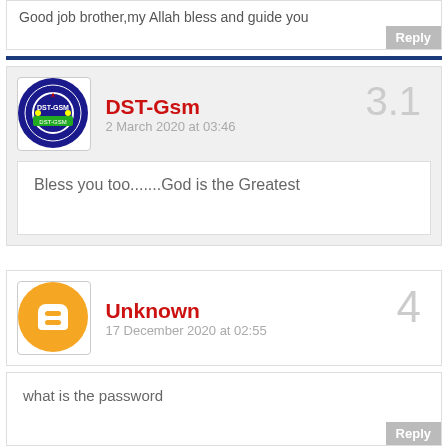Good job brother,my Allah bless and guide you
Reply
DST-Gsm
2 March 2020 at 03:46
3.1
Bless you too.......God is the Greatest
Unknown
17 December 2020 at 02:55
4
what is the password
Reply